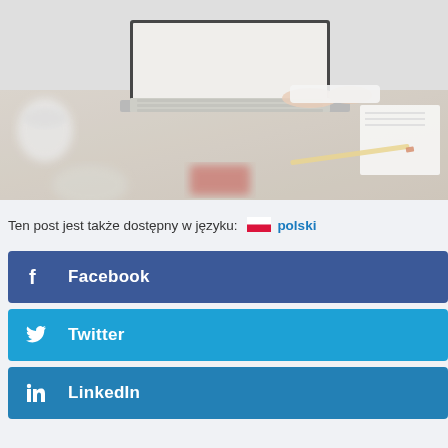[Figure (photo): Person typing on a laptop at a wooden desk, with notepad and coffee cup visible, blurred background]
Ten post jest także dostępny w języku: 🇵🇱 polski
Facebook
Twitter
LinkedIn